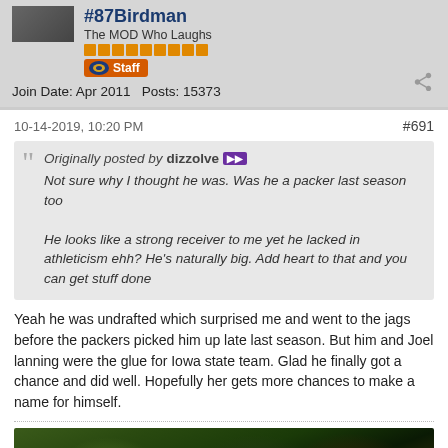#87Birdman
The MOD Who Laughs
Staff
Join Date: Apr 2011   Posts: 15373
10-14-2019, 10:20 PM
#691
Originally posted by dizzolve
Not sure why I thought he was. Was he a packer last season too

He looks like a strong receiver to me yet he lacked in athleticism ehh? He's naturally big. Add heart to that and you can get stuff done
Yeah he was undrafted which surprised me and went to the jags before the packers picked him up late last season. But him and Joel lanning were the glue for Iowa state team. Glad he finally got a chance and did well. Hopefully her gets more chances to make a name for himself.
[Figure (illustration): Fantasy/gaming artwork showing dark creatures with wings and armored figures in a dark, dramatic composition]